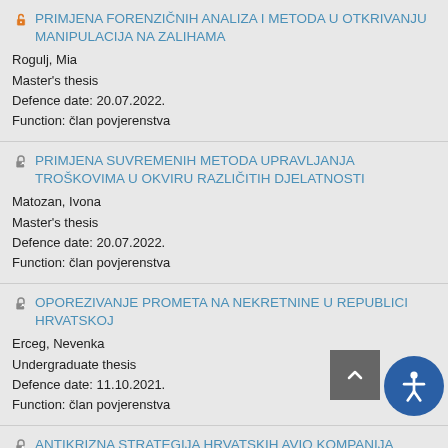PRIMJENA FORENZIČNIH ANALIZA I METODA U OTKRIVANJU MANIPULACIJA NA ZALIHAMA
Rogulj, Mia
Master's thesis
Defence date: 20.07.2022.
Function: član povjerenstva
PRIMJENA SUVREMENIH METODA UPRAVLJANJA TROŠKOVIMA U OKVIRU RAZLIČITIH DJELATNOSTI
Matozan, Ivona
Master's thesis
Defence date: 20.07.2022.
Function: član povjerenstva
OPOREZIVANJE PROMETA NA NEKRETNINE U REPUBLICI HRVATSKOJ
Erceg, Nevenka
Undergraduate thesis
Defence date: 11.10.2021.
Function: član povjerenstva
ANTIKRIZNA STRATEGIJA HRVATSKIH AVIO KOMPANIJA